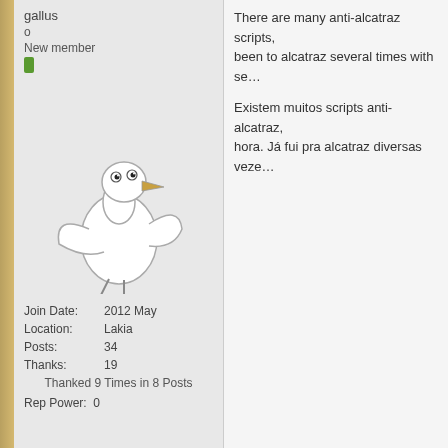gallus
o
New member
[Figure (illustration): Cartoon drawing of a seagull standing upright]
Join Date: 2012 May
Location: Lakia
Posts: 34
Thanks: 19
Thanked 9 Times in 8 Posts
Rep Power: 0
There are many anti-alcatraz scripts, been to alcatraz several times with se...
Existem muitos scripts anti-alcatraz, hora. Já fui pra alcatraz diversas veze...